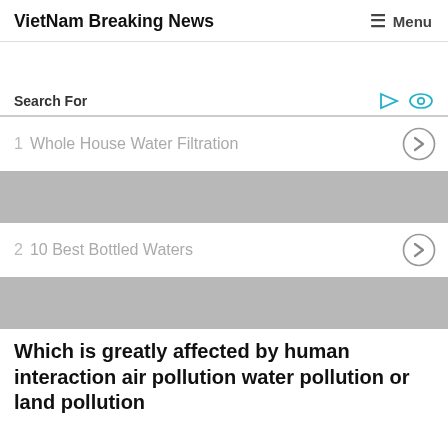VietNam Breaking News   Menu
Search For
1  Whole House Water Filtration
[Figure (other): Gray advertisement placeholder banner]
2  10 Best Bottled Waters
[Figure (other): Gray advertisement placeholder banner]
Which is greatly affected by human interaction air pollution water pollution or land pollution